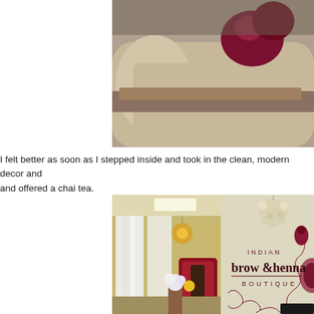[Figure (photo): Close-up photo of a beige/tan upholstered sofa with a dark burgundy/maroon decorative pillow and wooden frame]
I felt better as soon as I stepped inside and took in the clean, modern decor and offered a chai tea.
[Figure (photo): Interior of Indian Brow & Henna Boutique showing white curtains, chandelier lighting, flower arrangements, and a decorative wall logo reading 'Indian brow & henna BOUTIQUE' with a peacock design]